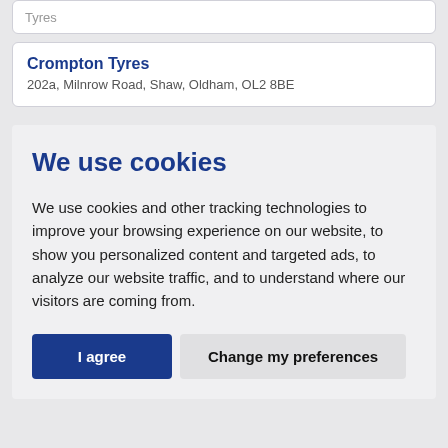Tyres
Crompton Tyres
202a, Milnrow Road, Shaw, Oldham, OL2 8BE
We use cookies
We use cookies and other tracking technologies to improve your browsing experience on our website, to show you personalized content and targeted ads, to analyze our website traffic, and to understand where our visitors are coming from.
I agree | Change my preferences